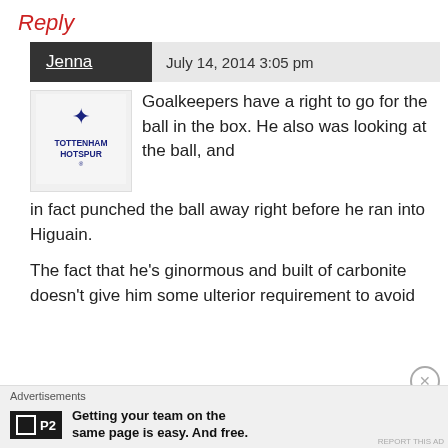Reply
Jenna   July 14, 2014 3:05 pm
Goalkeepers have a right to go for the ball in the box. He also was looking at the ball, and in fact punched the ball away right before he ran into Higuain.
The fact that he’s ginormous and built of carbonite doesn’t give him some ulterior requirement to avoid
Advertisements
Getting your team on the same page is easy. And free.